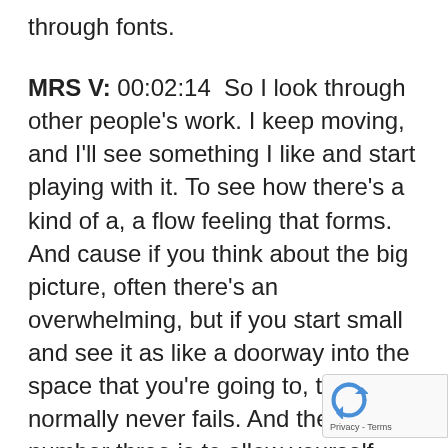through fonts.
MRS V: 00:02:14  So I look through other people's work. I keep moving, and I'll see something I like and start playing with it. To see how there's a kind of a, a flow feeling that forms. And cause if you think about the big picture, often there's an overwhelming, but if you start small and see it as like a doorway into the space that you're going to, that normally never fails. And then number three is to allow yourself processing space. I think, for me who's a doer I think that's been a big is to sit in the space of, allowing myse...
[Figure (logo): reCAPTCHA badge with rotating arrows logo and Privacy - Terms text]